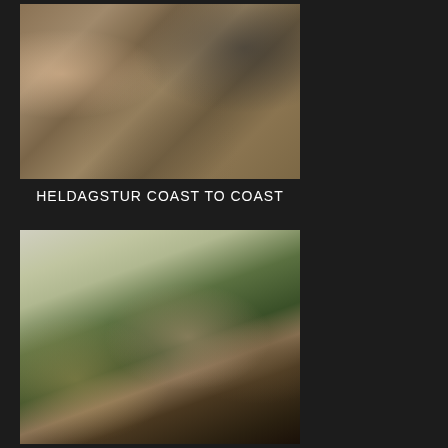[Figure (photo): Group of people seated at a wooden outdoor picnic table eating and drinking, casual gathering scene]
HELDAGSTUR COAST TO COAST
[Figure (photo): Group of bikers at an outdoor restaurant under a canopy, two people in the center embracing with a crowd of people seated at tables in the background]